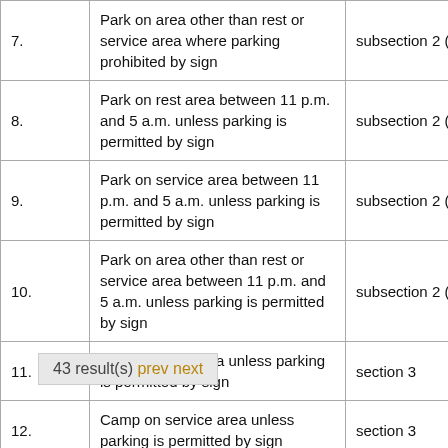|  | Description | Reference |
| --- | --- | --- |
| 7. | Park on area other than rest or service area where parking prohibited by sign | subsection 2 (1) |
| 8. | Park on rest area between 11 p.m. and 5 a.m. unless parking is permitted by sign | subsection 2 (2) |
| 9. | Park on service area between 11 p.m. and 5 a.m. unless parking is permitted by sign | subsection 2 (2) |
| 10. | Park on area other than rest or service area between 11 p.m. and 5 a.m. unless parking is permitted by sign | subsection 2 (2) |
| 11. | Camp on rest area unless parking is permitted by sign | section 3 |
| 12. | Camp on service area unless parking is permitted by sign | section 3 |
| 13. | [...] than rest or [...] parking is permitted by sign | section 3 |